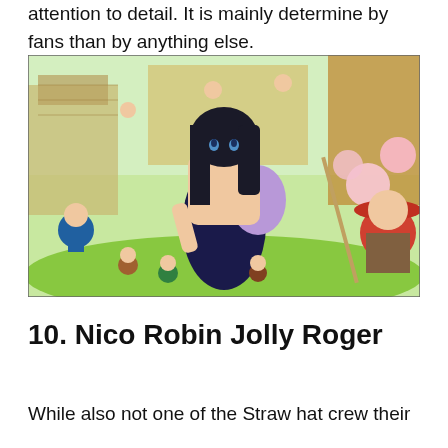attention to detail. It is mainly determine by fans than by anything else.
[Figure (illustration): Anime illustration from One Piece showing Nico Robin in a black dress in the center, surrounded by small dwarf-like characters with weapons, in a colorful fantasy setting with flowers and stone buildings in the background.]
10. Nico Robin Jolly Roger
While also not one of the Straw hat crew their...